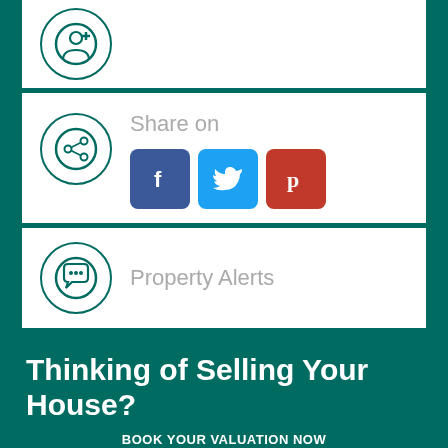[Figure (illustration): Teal circle icon with person/add symbol, partially cropped at top]
[Figure (illustration): Share on section with teal circle share icon and Facebook, Twitter, Pinterest social buttons]
Share on
[Figure (illustration): Property Alerts section with teal circle speech bubble icon]
Property Alerts
Thinking of Selling Your House?
BOOK YOUR VALUATION NOW
We have many years of specialist knowledge in estate agency and a wealth of experience selling properties here on the Island. We will present your property to meet the very highest standards, here are